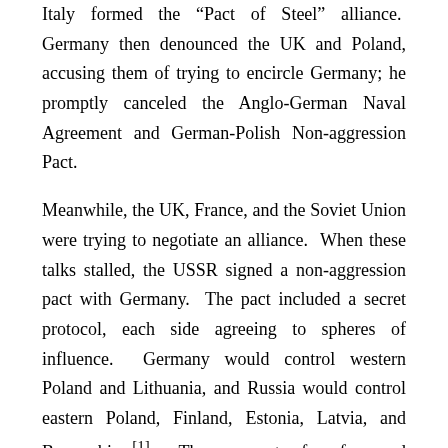Italy formed the “Pact of Steel” alliance.  Germany then denounced the UK and Poland, accusing them of trying to encircle Germany; he promptly canceled the Anglo-German Naval Agreement and German-Polish Non-aggression Pact.
Meanwhile, the UK, France, and the Soviet Union were trying to negotiate an alliance.  When these talks stalled, the USSR signed a non-aggression pact with Germany.  The pact included a secret protocol, each side agreeing to spheres of influence.  Germany would control western Poland and Lithuania, and Russia would control eastern Poland, Finland, Estonia, Latvia, and Bessarabia [1].  The prospect of a free and independent Poland looked dim in 1939.  It looked even worse on 1 September 1939 when Germany launched its blitzkrieg into Poland.
Germany continued its territorial expansion through 1941; Denmark and Norway fell.  Denmark capitulated in less than five hours; Norway held out for two months.  It was Norway’s